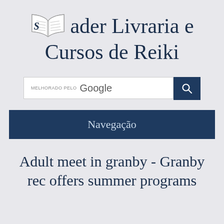[Figure (logo): Sader Livraria e Cursos de Reiki logo with an open book illustration and serif text]
[Figure (screenshot): Google custom search box with label 'MELHORADO PELO Google' and a dark blue search button with magnifying glass icon]
Navegação
Adult meet in granby - Granby rec offers summer programs